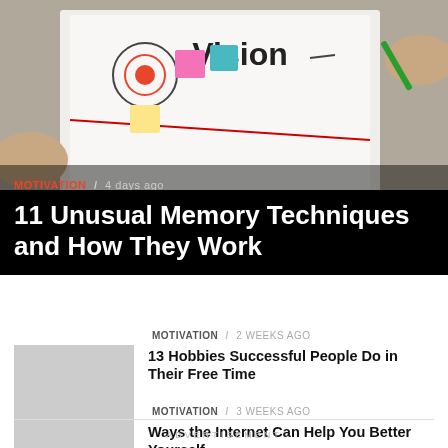[Figure (photo): Overhead view of a notebook with 'Vision' written and sticky notes with icons including a target/bullseye, held by hands with a pen]
MOTIVATION / 4 days ago
11 Unusual Memory Techniques and How They Work
MOTIVATION / 2 weeks ago
13 Hobbies Successful People Do in Their Free Time
MOTIVATION / 3 weeks ago
Ways the Internet Can Help You Better Yourself
ADVERTISEMENT